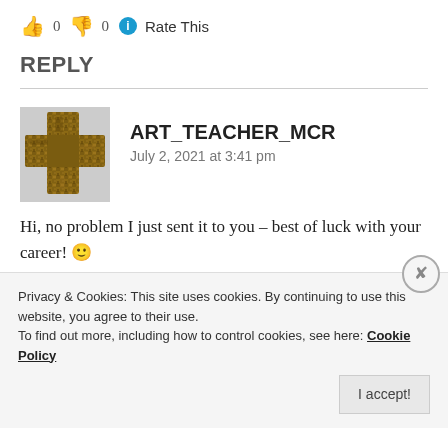👍 0 👎 0 ℹ Rate This
REPLY
ART_TEACHER_MCR
July 2, 2021 at 3:41 pm
Hi, no problem I just sent it to you – best of luck with your career! 🙂
★ Like
Privacy & Cookies: This site uses cookies. By continuing to use this website, you agree to their use.
To find out more, including how to control cookies, see here: Cookie Policy
I accept!